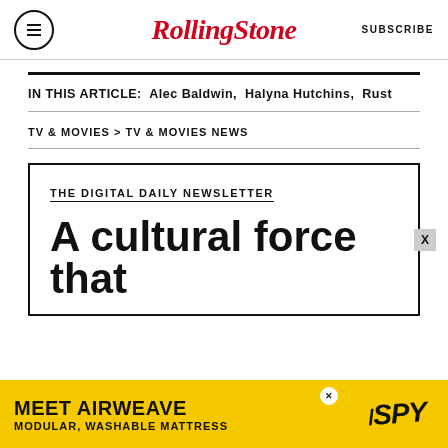Rolling Stone | SUBSCRIBE
IN THIS ARTICLE:  Alec Baldwin,  Halyna Hutchins,  Rust
TV & MOVIES > TV & MOVIES NEWS
THE DIGITAL DAILY NEWSLETTER
A cultural force that
[Figure (infographic): Advertisement banner: MEET AIRWEAVE MODULAR, WASHABLE MATTRESS with SPY logo on yellow background]